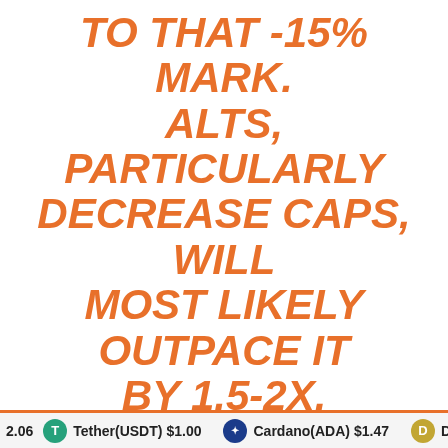TO THAT -15% MARK. ALTS, PARTICULARLY DECREASE CAPS, WILL MOST LIKELY OUTPACE IT BY 1.5-2X.
Bennett has predicted a 15% correction in Bitcoin worth, the place the asset hits a contemporary yearly low of $23,500. Altcoins might lose 22.5% to 30% of their worth.
Analysts imagine Bitcoin worth might witness additional correction
2.06   Tether(USDT) $1.00   Cardano(ADA) $1.47   Doge